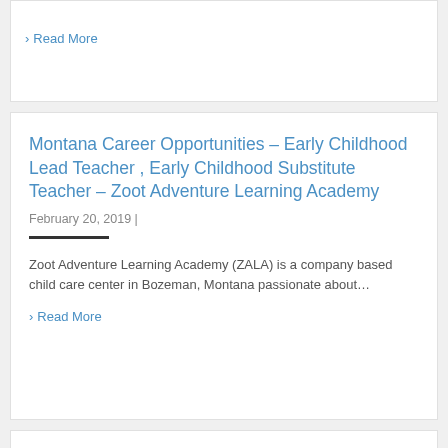› Read More
Montana Career Opportunities – Early Childhood Lead Teacher , Early Childhood Substitute Teacher – Zoot Adventure Learning Academy
February 20, 2019 |
Zoot Adventure Learning Academy (ZALA) is a company based child care center in Bozeman, Montana passionate about…
› Read More